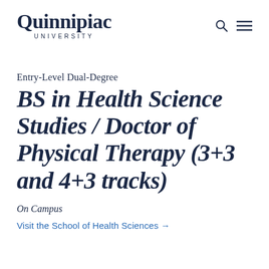Quinnipiac UNIVERSITY
Entry-Level Dual-Degree
BS in Health Science Studies / Doctor of Physical Therapy (3+3 and 4+3 tracks)
On Campus
Visit the School of Health Sciences →